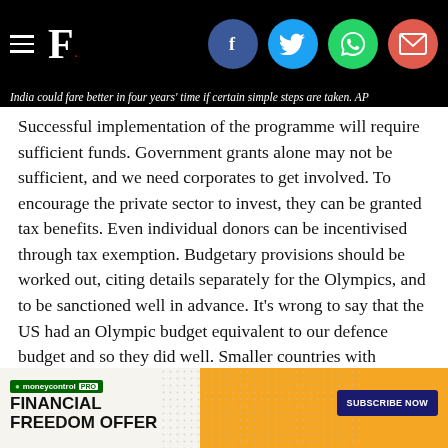F. [Firstpost logo with social share icons: Facebook, Twitter, WhatsApp, Email]
India could fare better in four years' time if certain simple steps are taken. AP
Successful implementation of the programme will require sufficient funds. Government grants alone may not be sufficient, and we need corporates to get involved. To encourage the private sector to invest, they can be granted tax benefits. Even individual donors can be incentivised through tax exemption. Budgetary provisions should be worked out, citing details separately for the Olympics, and to be sanctioned well in advance. It's wrong to say that the US had an Olympic budget equivalent to our defence budget and so they did well. Smaller countries with budgets smaller than India have also done well. While there is no denying that monetary support is a must, that should also commensurate with actual requirements and should be spent judiciously.
Let's take a positive look at Indian sports. We are today a recognis... ily speaking... just